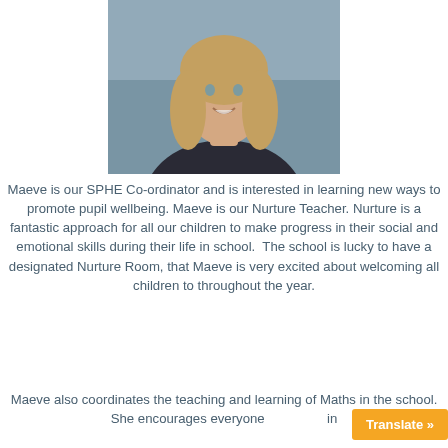[Figure (photo): Headshot photo of a young blonde woman smiling, wearing a dark top, photographed against a grey/blurred background.]
Maeve is our SPHE Co-ordinator and is interested in learning new ways to promote pupil wellbeing. Maeve is our Nurture Teacher. Nurture is a fantastic approach for all our children to make progress in their social and emotional skills during their life in school. The school is lucky to have a designated Nurture Room, that Maeve is very excited about welcoming all children to throughout the year.
Maeve also coordinates the teaching and learning of Maths in the school. She encourages everyone in